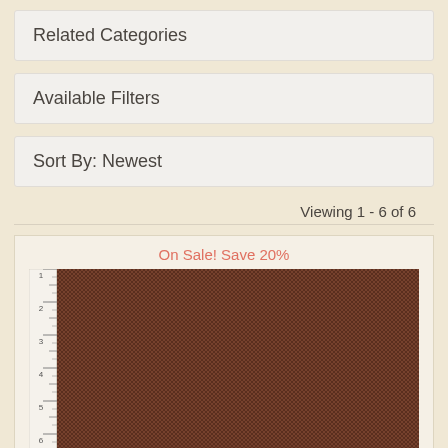Related Categories
Available Filters
Sort By: Newest
Viewing 1 - 6 of 6
[Figure (photo): Brown woven fabric swatch with a ruler/measurement guide on the left side. Labeled 'On Sale! Save 20%' above the image.]